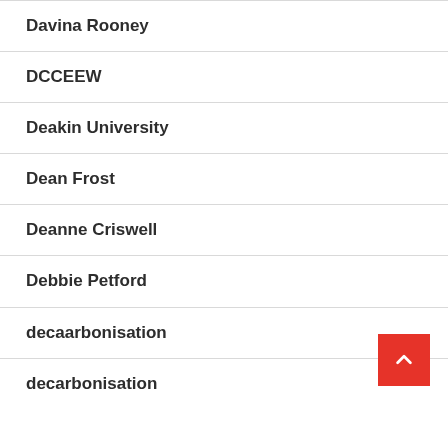Davina Rooney
DCCEEW
Deakin University
Dean Frost
Deanne Criswell
Debbie Petford
decaarbonisation
decarbonisation